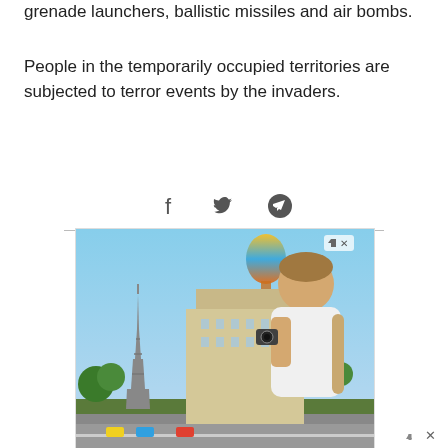grenade launchers, ballistic missiles and air bombs.
People in the temporarily occupied territories are subjected to terror events by the invaders.
[Figure (infographic): Social sharing icons: Facebook, Twitter, Telegram with a horizontal divider line below]
[Figure (photo): Advertisement banner showing a tourist photographing Las Vegas Strip with Eiffel Tower replica, with text 'Vegas Views Up To 60% Off' on a dark overlay, arrow button, and ad/close badges. Bottom ad bar visible.]